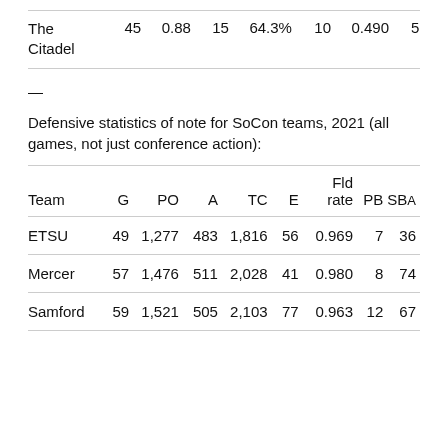| The Citadel | 45 | 0.88 | 15 | 64.3% | 10 | 0.490 | 5 |
—
Defensive statistics of note for SoCon teams, 2021 (all games, not just conference action):
| Team | G | PO | A | TC | E | Fld rate | PB | SBA |
| --- | --- | --- | --- | --- | --- | --- | --- | --- |
| ETSU | 49 | 1,277 | 483 | 1,816 | 56 | 0.969 | 7 | 36 |
| Mercer | 57 | 1,476 | 511 | 2,028 | 41 | 0.980 | 8 | 74 |
| Samford | 59 | 1,521 | 505 | 2,103 | 77 | 0.963 | 12 | 67 |